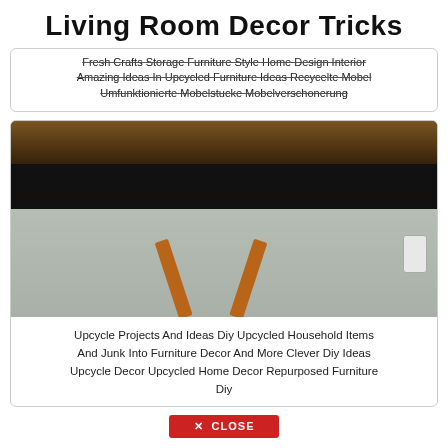Living Room Decor Tricks
Fresh Crafts Storage Furniture Style Home Design Interior Amazing Ideas In Upcycled Furniture Ideas Recycelte Mobel Umfunktionierte Mobelstucke Mobelverschonerung
[Figure (photo): A room interior photo with a black banner overlay showing the word BEFORE in large white bold letters, with a wooden ladder visible below and a wall outlet on the right.]
Upcycle Projects And Ideas Diy Upcycled Household Items And Junk Into Furniture Decor And More Clever Diy Ideas Upcycle Decor Upcycled Home Decor Repurposed Furniture Diy
✕ CLOSE